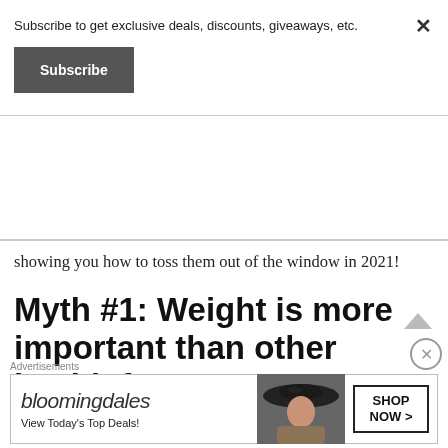Subscribe to get exclusive deals, discounts, giveaways, etc.
Subscribe
showing you how to toss them out of the window in 2021!
Myth #1: Weight is more important than other health factors.
There’s no doubting that your weight affects your health in many different ways. Being overweight or underweight by a significant
Advertisements
[Figure (screenshot): Bloomingdale's advertisement banner with logo, 'View Today's Top Deals!' tagline, woman in hat image, and 'SHOP NOW >' button]